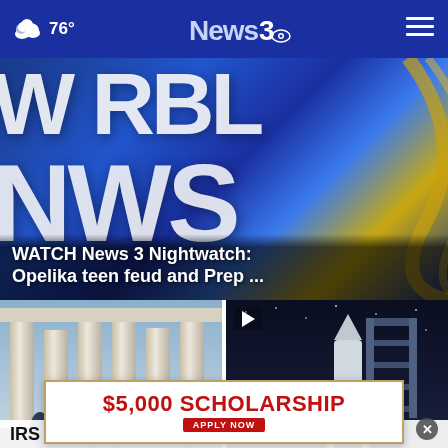76° News 3 (Navigation menu)
[Figure (screenshot): News 3 (WRBL) station logo/broadcast backdrop with large silver 3D letters 'WRBL' and 'NEWS' on blue background with gold accents. Overlay text reads: WATCH News 3 Nightwatch: Opelika teen feud and Prep ...]
WATCH News 3 Nightwatch: Opelika teen feud and Prep ...
[Figure (photo): Courthouse columns (classical architecture, stone pillars) with sky background; lower portion shows group of students]
[Figure (photo): Rocket on launch pad at night, with play button overlay in upper left corner, and close (X) button]
[Figure (infographic): Advertisement banner: $5,000 SCHOLARSHIP APPLY NOW]
IRS ...